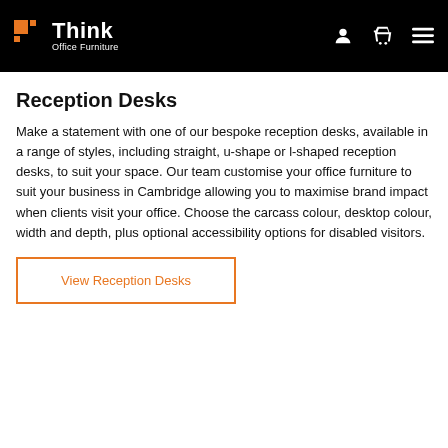Think Office Furniture
Reception Desks
Make a statement with one of our bespoke reception desks, available in a range of styles, including straight, u-shape or l-shaped reception desks, to suit your space. Our team customise your office furniture to suit your business in Cambridge allowing you to maximise brand impact when clients visit your office. Choose the carcass colour, desktop colour, width and depth, plus optional accessibility options for disabled visitors.
View Reception Desks